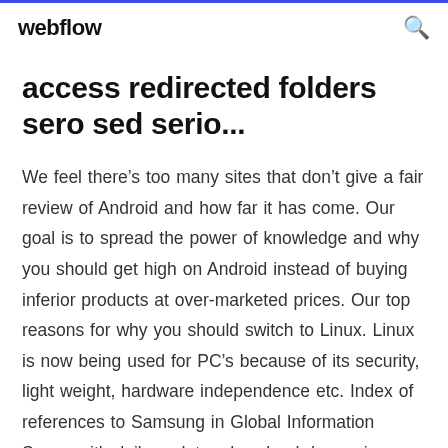webflow
access redirected folders sero sed serio...
We feel there’s too many sites that don’t give a fair review of Android and how far it has come. Our goal is to spread the power of knowledge and why you should get high on Android instead of buying inferior products at over-marketed prices. Our top reasons for why you should switch to Linux. Linux is now being used for PC’s because of its security, light weight, hardware independence etc. Index of references to Samsung in Global Information Space with daily updates download da musica